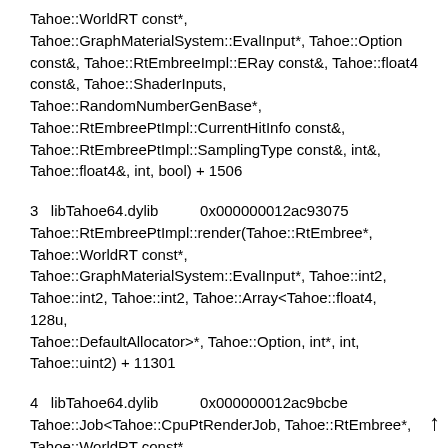Tahoe::WorldRT const*, Tahoe::GraphMaterialSystem::EvalInput*, Tahoe::Option const&, Tahoe::RtEmbreeImpl::ERay const&, Tahoe::float4 const&, Tahoe::ShaderInputs, Tahoe::RandomNumberGenBase*, Tahoe::RtEmbreePtImpl::CurrentHitInfo const&, Tahoe::RtEmbreePtImpl::SamplingType const&, int&, Tahoe::float4&, int, bool) + 1506
3   libTahoe64.dylib          0x000000012ac93075 Tahoe::RtEmbreePtImpl::render(Tahoe::RtEmbree*, Tahoe::WorldRT const*, Tahoe::GraphMaterialSystem::EvalInput*, Tahoe::int2, Tahoe::int2, Tahoe::int2, Tahoe::Array<Tahoe::float4, 128u, Tahoe::DefaultAllocator>*, Tahoe::Option, int*, int, Tahoe::uint2) + 11301
4   libTahoe64.dylib          0x000000012ac9bcbe Tahoe::Job<Tahoe::CpuPtRenderJob, Tahoe::RtEmbree*, Tahoe::WorldRT const*, Tahoe::GraphMaterialSystem::EvalInput*, Tahoe::int2,